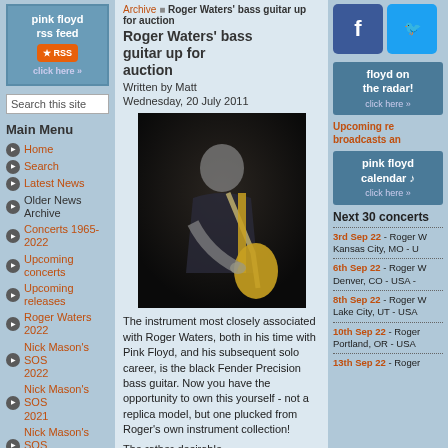[Figure (logo): Pink Floyd RSS Feed banner with orange RSS icon and click here text]
Search this site
Main Menu
Home
Search
Latest News
Older News Archive
Concerts 1965-2022
Upcoming concerts
Upcoming releases
Roger Waters 2022
Nick Mason's SOS 2022
Nick Mason's SOS 2021
Nick Mason's SOS 2020
Nick Mason's SOS 2019
Nick Mason's SOS 2018
Roger Waters 2018
Roger Waters 2017
Roger Waters 2016
David Gilmour 2016
Archive   Roger Waters' bass guitar up for auction
Roger Waters' bass guitar up for auction
Written by Matt
Wednesday, 20 July 2011
[Figure (photo): Roger Waters playing black Fender Precision bass guitar against dark background]
The instrument most closely associated with Roger Waters, both in his time with Pink Floyd, and his subsequent solo career, is the black Fender Precision bass guitar. Now you have the opportunity to own this yourself - not a replica model, but one plucked from Roger's own instrument collection!
The rather-desirable
[Figure (logo): Floyd on the radar! click here banner]
Upcoming re broadcasts an
[Figure (logo): Pink Floyd calendar click here banner]
Next 30 concerts
3rd Sep 22 - Roger W Kansas City, MO - U
6th Sep 22 - Roger W Denver, CO - USA -
8th Sep 22 - Roger W Lake City, UT - USA
10th Sep 22 - Roger Portland, OR - USA
13th Sep 22 - Roger